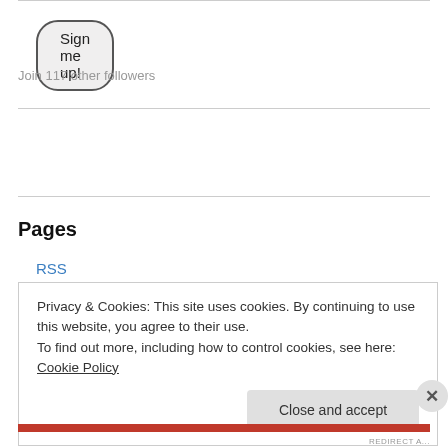[Figure (screenshot): Sign me up! button with rounded pill border]
Join 117 other followers
RSS - Posts
RSS - Comments
Pages
About Tracing our History
Privacy & Cookies: This site uses cookies. By continuing to use this website, you agree to their use.
To find out more, including how to control cookies, see here: Cookie Policy
Close and accept